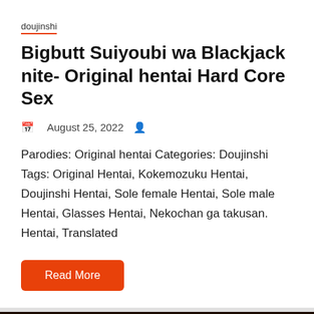doujinshi
Bigbutt Suiyoubi wa Blackjack nite- Original hentai Hard Core Sex
August 25, 2022
Parodies: Original hentai Categories: Doujinshi Tags: Original Hentai, Kokemozuku Hentai, Doujinshi Hentai, Sole female Hentai, Sole male Hentai, Glasses Hentai, Nekochan ga takusan. Hentai, Translated
Read More
[Figure (photo): Manga/doujinshi cover image with Japanese text showing anthology title with red and gold stylized characters on dark background]